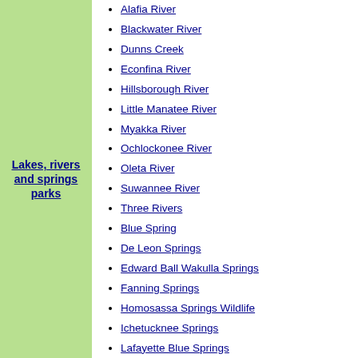Lakes, rivers and springs parks
Alafia River
Blackwater River
Dunns Creek
Econfina River
Hillsborough River
Little Manatee River
Myakka River
Ochlockonee River
Oleta River
Suwannee River
Three Rivers
Blue Spring
De Leon Springs
Edward Ball Wakulla Springs
Fanning Springs
Homosassa Springs Wildlife
Ichetucknee Springs
Lafayette Blue Springs
Madison Blue Spring
Manatee Springs
Ponce de Leon Springs
Rainbow Springs
Silver Springs
Troy Spring